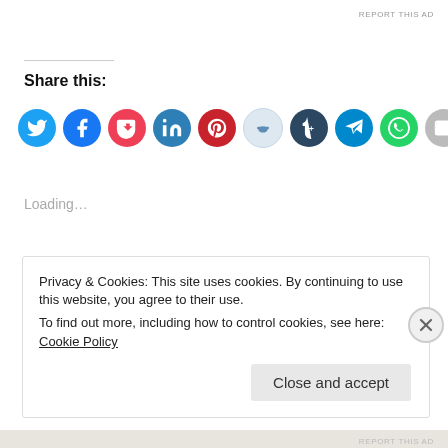REPORT THIS AD
Share this:
[Figure (infographic): Row of social media share icons: Twitter (blue), Facebook (blue), Pocket (red), LinkedIn (teal), Pinterest (red), Reddit (light blue/white), Tumblr (dark navy), Telegram (teal), WhatsApp (green), Email (grey)]
Loading...
Privacy & Cookies: This site uses cookies. By continuing to use this website, you agree to their use.
To find out more, including how to control cookies, see here: Cookie Policy
Close and accept
REPORT THIS AD